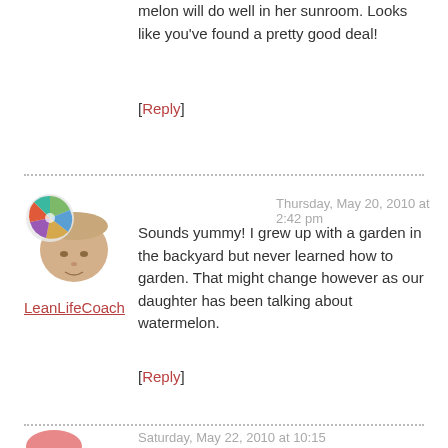melon will do well in her sunroom. Looks like you've found a pretty good deal!
[Reply]
Thursday, May 20, 2010 at 2:42 pm
[Figure (photo): Avatar image of LeanLifeCoach - circular illustrated badge over a cropped face photo]
LeanLifeCoach
Sounds yummy! I grew up with a garden in the backyard but never learned how to garden. That might change however as our daughter has been talking about watermelon.
[Reply]
Saturday, May 22, 2010 at 10:15